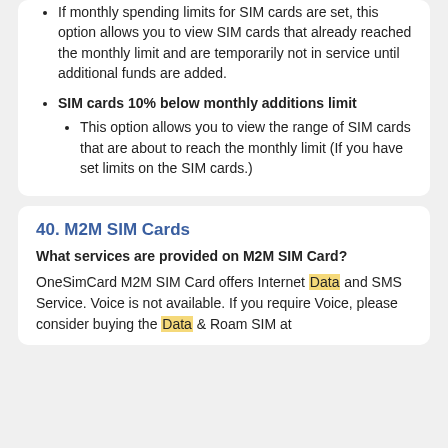If monthly spending limits for SIM cards are set, this option allows you to view SIM cards that already reached the monthly limit and are temporarily not in service until additional funds are added.
SIM cards 10% below monthly additions limit
This option allows you to view the range of SIM cards that are about to reach the monthly limit (If you have set limits on the SIM cards.)
40. M2M SIM Cards
What services are provided on M2M SIM Card?
OneSimCard M2M SIM Card offers Internet Data and SMS Service. Voice is not available. If you require Voice, please consider buying the Data & Roam SIM at